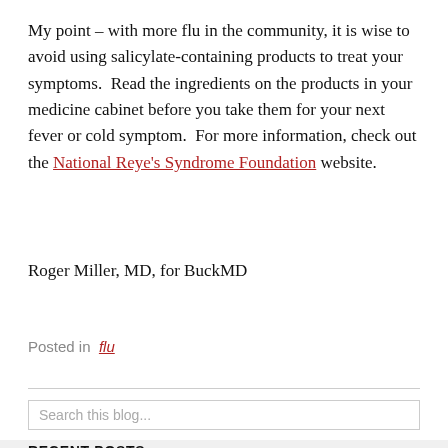My point – with more flu in the community, it is wise to avoid using salicylate-containing products to treat your symptoms.  Read the ingredients on the products in your medicine cabinet before you take them for your next fever or cold symptom.  For more information, check out the National Reye's Syndrome Foundation website.
Roger Miller, MD, for BuckMD
Posted in  flu
Search this blog...
RECENT POSTS